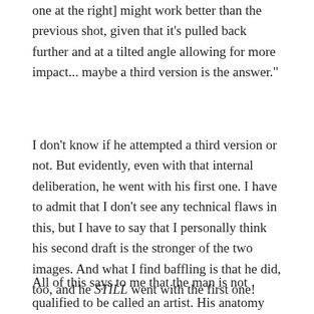one at the right] might work better than the previous shot, given that it's pulled back further and at a tilted angle allowing for more impact... maybe a third version is the answer."
I don't know if he attempted a third version or not. But evidently, even with that internal deliberation, he went with his first one. I have to admit that I don't see any technical flaws in this, but I have to say that I personally think his second draft is the stronger of the two images. And what I find baffling is that he did, too, and he STILL went with the first one!
All of this says to me that the man is not qualified to be called an artist. His anatomy